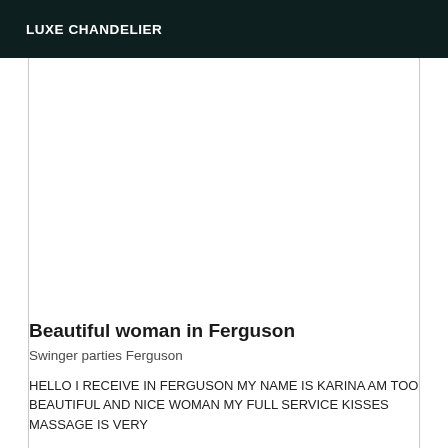LUXE CHANDELIER
Beautiful woman in Ferguson
Swinger parties Ferguson
HELLO I RECEIVE IN FERGUSON MY NAME IS KARINA AM TOO BEAUTIFUL AND NICE WOMAN MY FULL SERVICE KISSES MASSAGE IS VERY